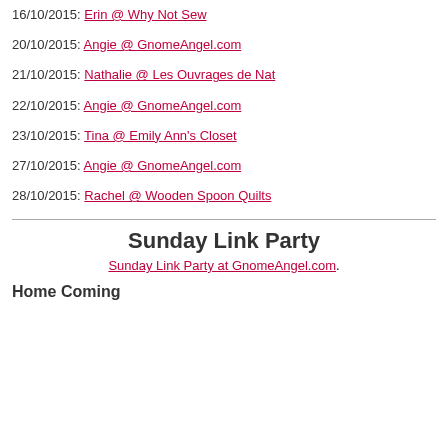16/10/2015: Erin @ Why Not Sew
20/10/2015: Angie @ GnomeAngel.com
21/10/2015: Nathalie @ Les Ouvrages de Nat
22/10/2015: Angie @ GnomeAngel.com
23/10/2015: Tina @ Emily Ann's Closet
27/10/2015: Angie @ GnomeAngel.com
28/10/2015: Rachel @ Wooden Spoon Quilts
Sunday Link Party
Sunday Link Party at GnomeAngel.com.
Home Coming